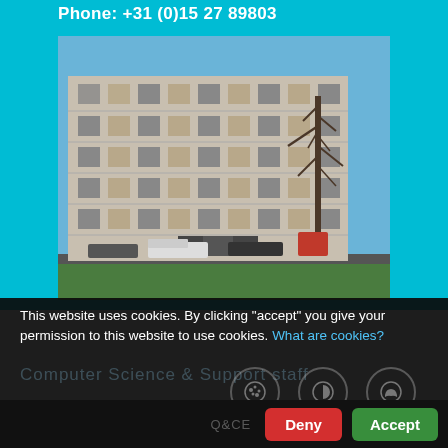Phone: +31 (0)15 27 89803
[Figure (photo): Exterior photo of a multi-story modern office/university building with rows of windows, bare winter trees in foreground, vehicles parked on street, blue sky background.]
This website uses cookies. By clicking "accept" you give your permission to this website to use cookies. What are cookies?
Q&CE